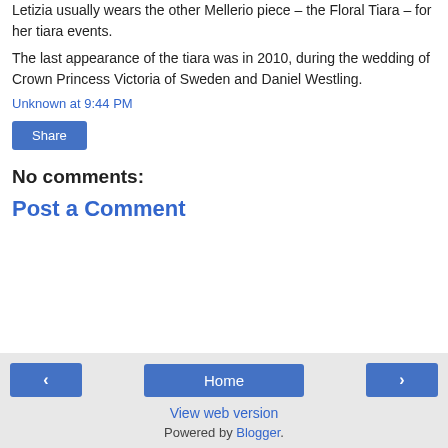Letizia usually wears the other Mellerio piece – the Floral Tiara – for her tiara events.
The last appearance of the tiara was in 2010, during the wedding of Crown Princess Victoria of Sweden and Daniel Westling.
Unknown at 9:44 PM
Share
No comments:
Post a Comment
‹  Home  ›  View web version  Powered by Blogger.